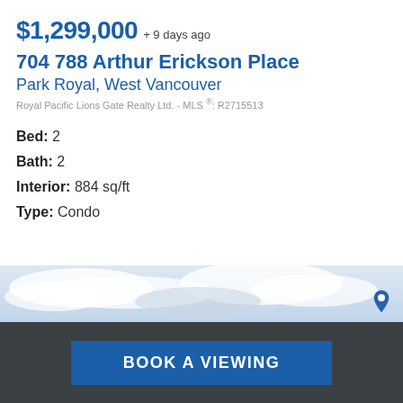$1,299,000 + 9 days ago
704 788 Arthur Erickson Place
Park Royal, West Vancouver
Royal Pacific Lions Gate Realty Ltd. - MLS ®: R2715513
Bed: 2
Bath: 2
Interior: 884 sq/ft
Type: Condo
[Figure (photo): Exterior photo of building with sky background and map pin marker]
BOOK A VIEWING